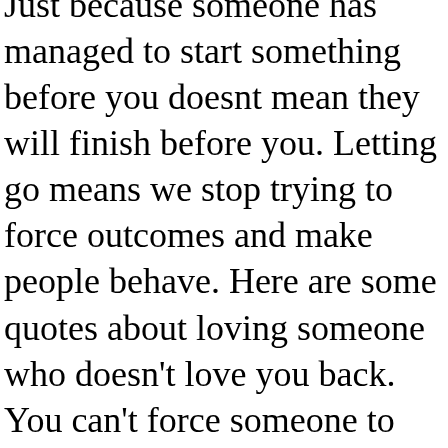Just because someone has managed to start something before you doesnt mean they will finish before you. Letting go means we stop trying to force outcomes and make people behave. Here are some quotes about loving someone who doesn't love you back. You can't force someone to respect you, but you can refuse to be disrespected. Thank you! The Millionaire Fastlane: Crack the Code to Wealth and Live Rich for a Lifetime. In other words, a slightly uncomfortable feeling. The Law of Divine Compensation: On Work, Money, and